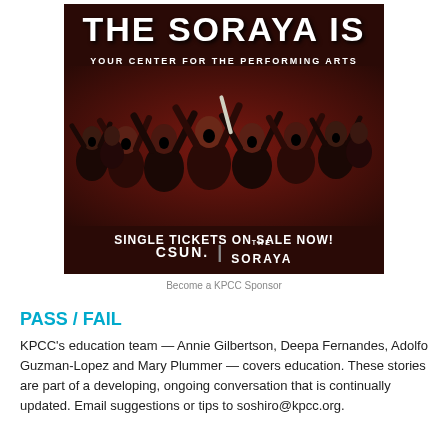[Figure (photo): Advertisement for CSUN Soraya performing arts center. Dark background with energetic performers, text reading 'THE SORAYA IS YOUR CENTER FOR THE PERFORMING ARTS' and 'SINGLE TICKETS ON SALE NOW!' with CSUN and THE SORAYA logos.]
Become a KPCC Sponsor
PASS / FAIL
KPCC's education team — Annie Gilbertson, Deepa Fernandes, Adolfo Guzman-Lopez and Mary Plummer — covers education. These stories are part of a developing, ongoing conversation that is continually updated. Email suggestions or tips to soshiro@kpcc.org.